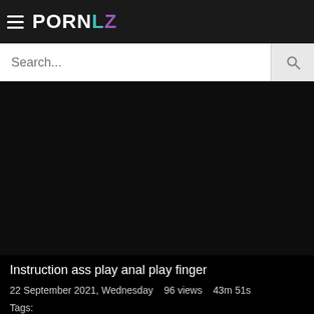PORNLZ
Search...
[Figure (other): Black video player area]
Instruction ass play anal play finger
22 September 2021, Wednesday   96 views   43m 51s
Tags: